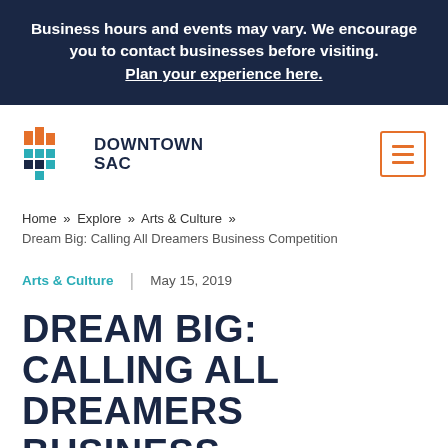Business hours and events may vary. We encourage you to contact businesses before visiting. Plan your experience here.
[Figure (logo): Downtown SAC logo with colorful bar chart icon and navigation menu button]
Home » Explore » Arts & Culture » Dream Big: Calling All Dreamers Business Competition
Arts & Culture | May 15, 2019
DREAM BIG: CALLING ALL DREAMERS BUSINESS COMPETITION